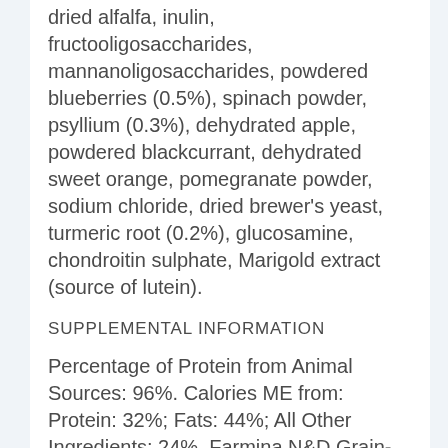dried alfalfa, inulin, fructooligosaccharides, mannanoligosaccharides, powdered blueberries (0.5%), spinach powder, psyllium (0.3%), dehydrated apple, powdered blackcurrant, dehydrated sweet orange, pomegranate powder, sodium chloride, dried brewer's yeast, turmeric root (0.2%), glucosamine, chondroitin sulphate, Marigold extract (source of lutein).
SUPPLEMENTAL INFORMATION
Percentage of Protein from Animal Sources: 96%. Calories ME from: Protein: 32%; Fats: 44%; All Other Ingredients: 24%. Farmina N&D Grain-Free Chicken & Pumpkin Recipe for Puppies is formulated to meet the nutritional levels established by the AAFCO Dog Food Nutrient Profiles for all life stages.